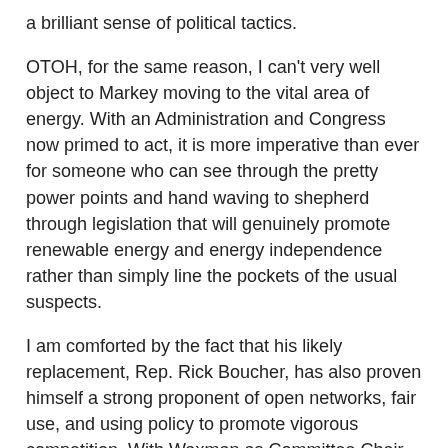a brilliant sense of political tactics.
OTOH, for the same reason, I can't very well object to Markey moving to the vital area of energy. With an Administration and Congress now primed to act, it is more imperative than ever for someone who can see through the pretty power points and hand waving to shepherd through legislation that will genuinely promote renewable energy and energy independence rather than simply line the pockets of the usual suspects.
I am comforted by the fact that his likely replacement, Rep. Rick Boucher, has also proven himself a strong proponent of open networks, fair use, and using policy to promote vigorous competition. With Waxman as Committee Chair and Boucher as Telecom Subcommittee Chair, I am very hopeful for the future of telecom legislation and FCC oversight for the 111th Congress.
Stay tuned . . . .